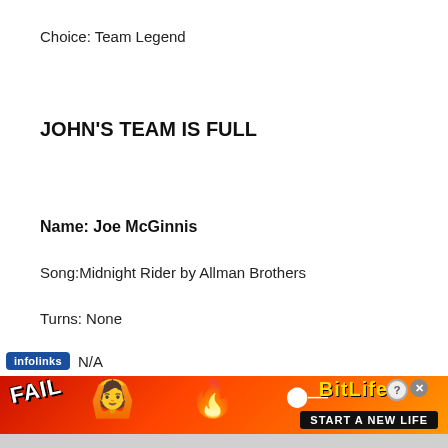Choice: Team Legend
JOHN'S TEAM IS FULL
Name: Joe McGinnis
Song:Midnight Rider by Allman Brothers
Turns: None
infolinks  N/A
[Figure (other): BitLife advertisement banner: FAIL text with emoji and flame, BitLife logo, START A NEW LIFE button on red/orange background]